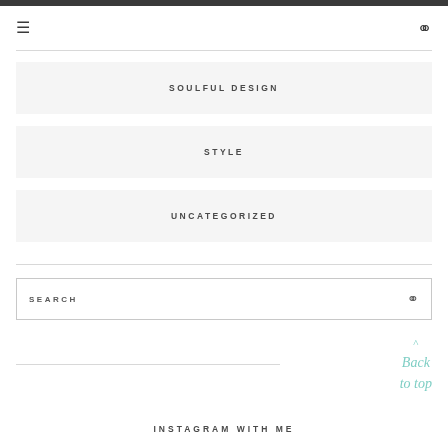≡   🔍
SOULFUL DESIGN
STYLE
UNCATEGORIZED
SEARCH
Back to top
INSTAGRAM WITH ME